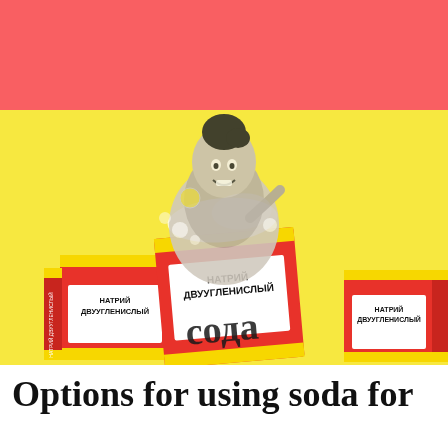[Figure (illustration): Coral/salmon colored banner strip at the top of the page]
[Figure (photo): Yellow background with vintage black-and-white collage image of a woman emerging from a large red and yellow Russian baking soda box labeled НАТРИЙ ДВУУГЛЕКИСЛЫЙ (sodium bicarbonate) and сода (soda). Three boxes are arranged together, with foamy bubbles around the woman.]
Options for using soda for